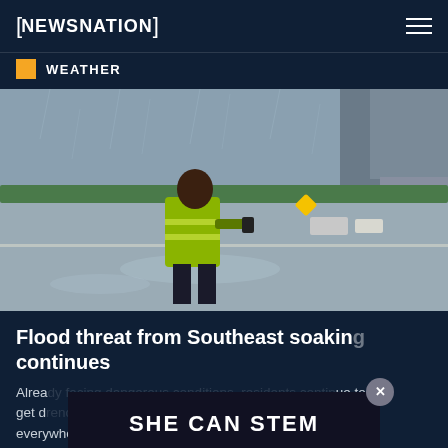NEWSNATION
WEATHER
[Figure (photo): A person wearing a bright yellow/green safety vest and dark pants walks on a wet, flooded highway during heavy rain. An underpass or overpass concrete pillar is visible on the right. Additional vehicles are seen in the distance under the overpass.]
Flood threat from Southeast soaking continues
Alrea… ue to get d… everywhere.
[Figure (other): Advertisement overlay banner with text 'SHE CAN STEM' and an X close button]